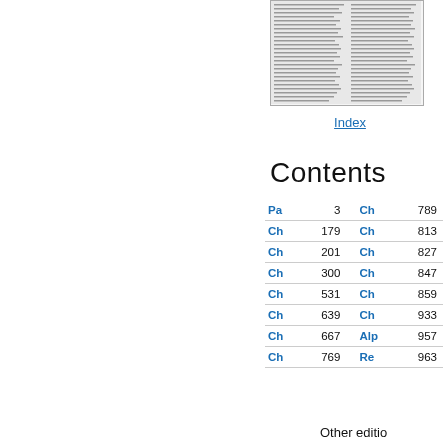[Figure (screenshot): Thumbnail image of an index page showing dense text columns]
Index
Contents
| Link | Page |  | Link | Page |
| --- | --- | --- | --- | --- |
| Pa | 3 |  | Ch | 789 |
| Ch | 179 |  | Ch | 813 |
| Ch | 201 |  | Ch | 827 |
| Ch | 300 |  | Ch | 847 |
| Ch | 531 |  | Ch | 859 |
| Ch | 639 |  | Ch | 933 |
| Ch | 667 |  | Alp | 957 |
| Ch | 769 |  | Re | 963 |
Other edition